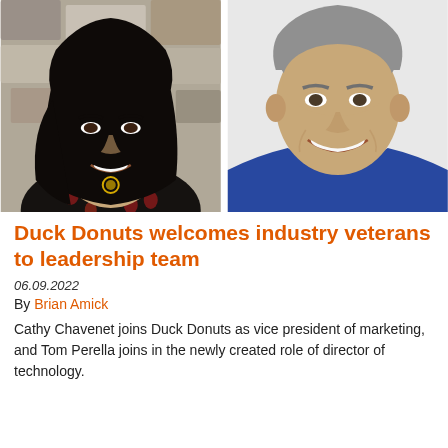[Figure (photo): Two side-by-side headshot photos: left is a woman with long dark hair wearing a dark floral top against a stone wall background; right is a man with short grey hair wearing a blue jacket and light yellow shirt against a white background.]
Duck Donuts welcomes industry veterans to leadership team
06.09.2022
By Brian Amick
Cathy Chavenet joins Duck Donuts as vice president of marketing, and Tom Perella joins in the newly created role of director of technology.